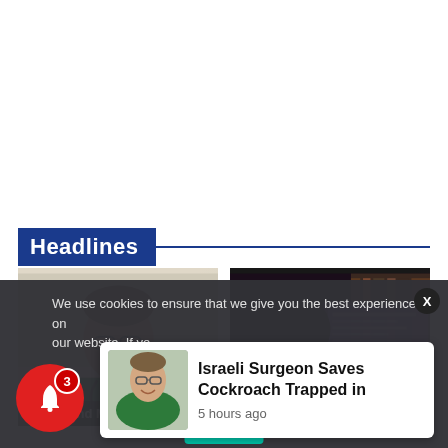Headlines
[Figure (photo): Photo of a smiling doctor wearing green scrubs and glasses with a stethoscope]
Health and Medicine
[Figure (photo): Photo of a dark silhouetted figure in front of a computer screen, with Hebrew text subtitles]
Terrorism
We use cookies to ensure that we give you the best experience on our website. If yo
[Figure (photo): Small thumbnail of the Israeli surgeon in green scrubs]
Israeli Surgeon Saves Cockroach Trapped in
5 hours ago